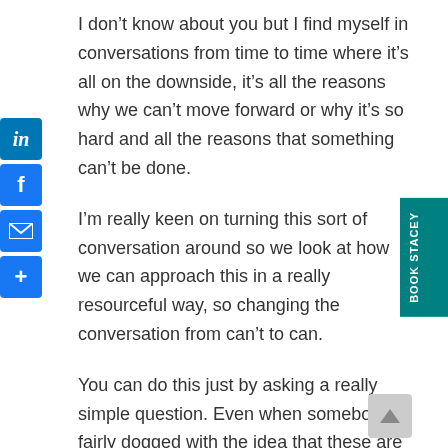I don't know about you but I find myself in conversations from time to time where it's all on the downside, it's all the reasons why we can't move forward or why it's so hard and all the reasons that something can't be done.
I'm really keen on turning this sort of conversation around so we look at how we can approach this in a really resourceful way, so changing the conversation from can't to can.
You can do this just by asking a really simple question. Even when somebody is fairly dogged with the idea that these are all the reasons why we can't do something, just
[Figure (other): Social sharing sidebar with LinkedIn, Facebook, email, and plus buttons]
[Figure (other): Teal vertical tab on right side reading BOOK STACEY]